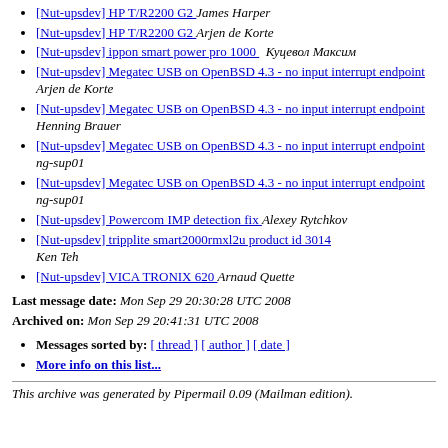[Nut-upsdev] HP T/R2200 G2  James Harper
[Nut-upsdev] HP T/R2200 G2  Arjen de Korte
[Nut-upsdev] ippon smart power pro 1000   Куцевол Максим
[Nut-upsdev] Megatec  USB on OpenBSD 4.3 - no input interrupt endpoint  Arjen de Korte
[Nut-upsdev] Megatec  USB on OpenBSD 4.3 - no input interrupt endpoint  Henning Brauer
[Nut-upsdev] Megatec  USB on OpenBSD 4.3 - no input interrupt endpoint  ng-sup01
[Nut-upsdev] Megatec  USB on OpenBSD 4.3 - no input interrupt endpoint  ng-sup01
[Nut-upsdev] Powercom IMP detection fix  Alexey Rytchkov
[Nut-upsdev] tripplite smart2000rmxl2u product id 3014  Ken Teh
[Nut-upsdev] VICA TRONIX 620  Arnaud Quette
Last message date: Mon Sep 29 20:30:28 UTC 2008
Archived on: Mon Sep 29 20:41:31 UTC 2008
Messages sorted by: [ thread ] [ author ] [ date ]
More info on this list...
This archive was generated by Pipermail 0.09 (Mailman edition).